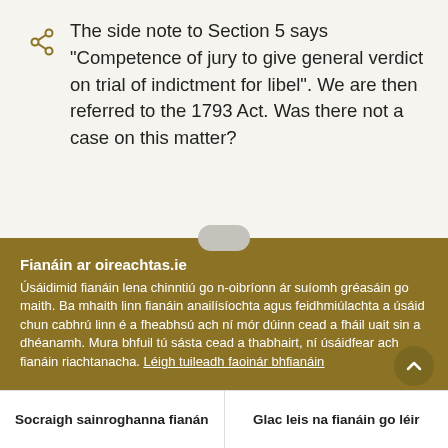The side note to Section 5 says "Competence of jury to give general verdict on trial of indictment for libel". We are then referred to the 1793 Act. Was there not a case on this matter?
Fianáin ar oireachtas.ie
Úsáidimid fianáin lena chinntiú go n-oibríonn ár suíomh gréasáin go maith. Ba mhaith linn fianáin anailísíochta agus feidhmiúlachta a úsáid chun cabhrú linn é a fheabhsú ach ní mór dúinn cead a fháil uait sin a dhéanamh. Mura bhfuil tú sásta cead a thabhairt, ní úsáidfear ach fianáin riachtanacha. Léigh tuileadh faoinár bhfianáin
Socraigh sainroghanna fianán
Glac leis na fianáin go léir